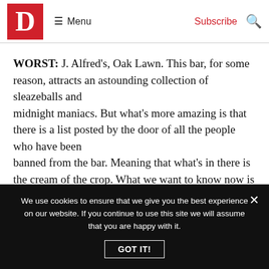D Menu Subscribe
WORST: J. Alfred’s, Oak Lawn. This bar, for some reason, attracts an astounding collection of sleazeballs and midnight maniacs. But what’s more amazing is that there is a list posted by the door of all the people who have been banned from the bar. Meaning that what’s in there is the cream of the crop. What we want to know now is where the
We use cookies to ensure that we give you the best experience on our website. If you continue to use this site we will assume that you are happy with it.
GOT IT!